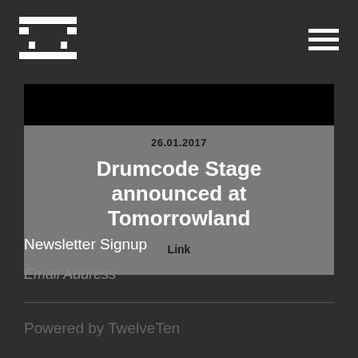Drumcode logo and navigation
[Figure (screenshot): Black image banner at top of card]
26.01.2017
Drumcode Stage announced at Tomorrowland
Link
Newsletter Signup
Email Address
Powered by TwelveTen